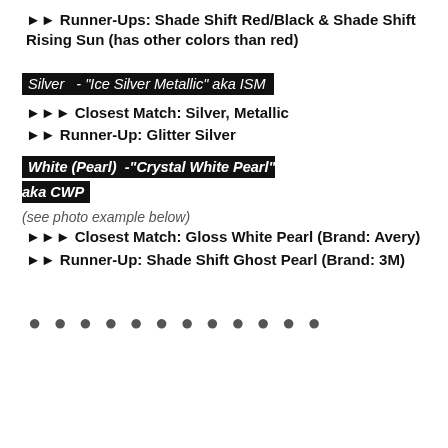►► Runner-Ups: Shade Shift Red/Black & Shade Shift Rising Sun (has other colors than red)
Silver  - "Ice Silver Metallic" aka ISM
►►► Closest Match: Silver, Metallic
►► Runner-Up: Glitter Silver
White (Pearl)  -"Crystal White Pearl" aka CWP
(see photo example below)
►►► Closest Match: Gloss White Pearl (Brand: Avery)
►► Runner-Up: Shade Shift Ghost Pearl (Brand: 3M)
● ● ● ● ● ● ● ● ● ● ● ●